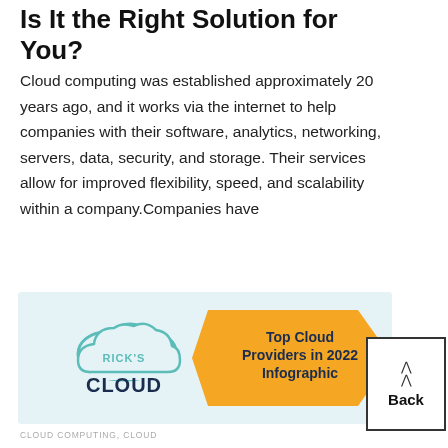Is It the Right Solution for You?
Cloud computing was established approximately 20 years ago, and it works via the internet to help companies with their software, analytics, networking, servers, data, security, and storage. Their services allow for improved flexibility, speed, and scalability within a company.Companies have
[Figure (infographic): Rick's Cloud infographic banner showing a teal cloud logo with 'RICK'S CLOUD' text and an orange arrow-shaped banner reading 'Top Cloud Providers in 2022 Infographic']
CLOUD COMPUTING, CLOUD